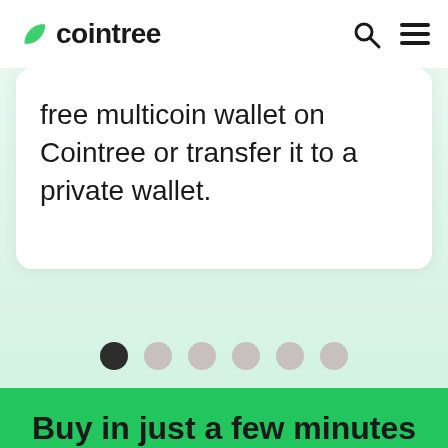cointree
free multicoin wallet on Cointree or transfer it to a private wallet.
[Figure (other): Carousel pagination dots — one dark active dot followed by five lighter inactive dots]
Buy in just a few minutes
Start with as little as AUD $25 and deposit